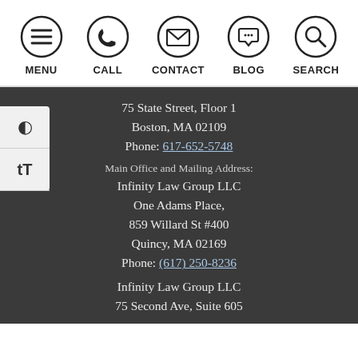[Figure (infographic): Website navigation bar with five circular icon buttons: MENU (hamburger icon), CALL (phone icon), CONTACT (envelope icon), BLOG (speech bubble icon), SEARCH (magnifying glass icon)]
75 State Street, Floor 1
Boston, MA 02109
Phone: 617-652-5748
Main Office and Mailing Address:
Infinity Law Group LLC
One Adams Place,
859 Willard St #400
Quincy, MA 02169
Phone: (617) 250-8236
Infinity Law Group LLC
75 Second Ave, Suite 605